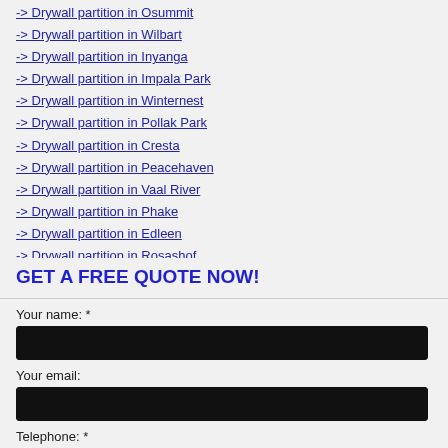-> Drywall partition in Osummit
-> Drywall partition in Wilbart
-> Drywall partition in Inyanga
-> Drywall partition in Impala Park
-> Drywall partition in Winternest
-> Drywall partition in Pollak Park
-> Drywall partition in Cresta
-> Drywall partition in Peacehaven
-> Drywall partition in Vaal River
-> Drywall partition in Phake
-> Drywall partition in Edleen
-> Drywall partition in Rosashof
GET A FREE QUOTE NOW!
Your name: *
Your email:
Telephone: *